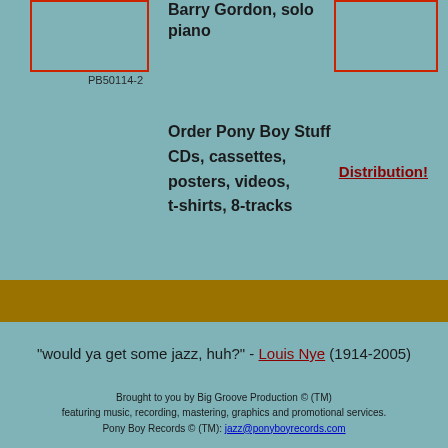[Figure (other): Album cover box outline left, red border rectangle]
Barry Gordon, solo piano
[Figure (other): Album cover box outline right, red border rectangle]
PB50114-2
Order Pony Boy Stuff CDs, cassettes, posters, videos, t-shirts, 8-tracks
Distribution!
[Figure (other): Gold/dark yellow horizontal bar]
“would ya get some jazz, huh?” - Louis Nye (1914-2005)
Brought to you by Big Groove Production © (TM) featuring music, recording, mastering, graphics and promotional services. Pony Boy Records © (TM): jazz@ponyboyrecords.com